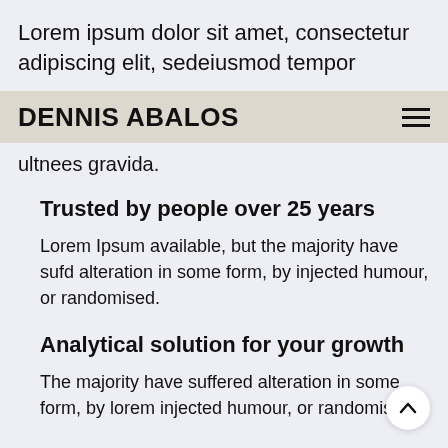Lorem ipsum dolor sit amet, consectetur adipiscing elit, sedeiusmod tempor
DENNIS ABALOS
ultnees gravida.
Trusted by people over 25 years
Lorem Ipsum available, but the majority have sufd alteration in some form, by injected humour, or randomised.
Analytical solution for your growth
The majority have suffered alteration in some form, by lorem injected humour, or randomised.